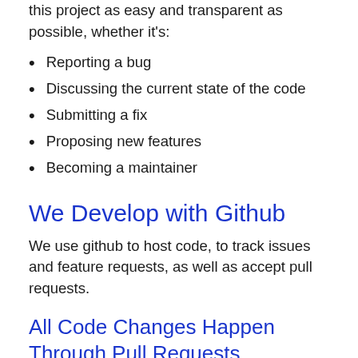this project as easy and transparent as possible, whether it's:
Reporting a bug
Discussing the current state of the code
Submitting a fix
Proposing new features
Becoming a maintainer
We Develop with Github
We use github to host code, to track issues and feature requests, as well as accept pull requests.
All Code Changes Happen Through Pull Requests
Pull requests are the best way to propose changes to the codebase. We actively welcome your pull requests: